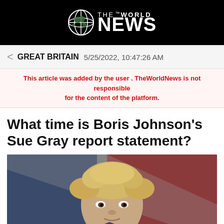THE WORLD NEWS
GREAT BRITAIN  5/25/2022, 10:47:26 AM
This article was added by the user . TheWorldNews is not responsible for the content of the platform.
What time is Boris Johnson's Sue Gray report statement?
[Figure (photo): Photo of Boris Johnson with disheveled blond hair in front of a red and blue flag background]